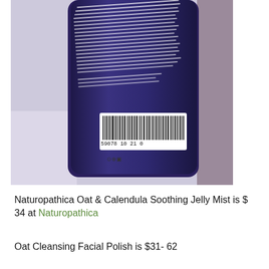[Figure (photo): Back label of a Naturopathica product bottle (dark purple/navy tube) showing ingredient list text, a barcode reading '59078 10121 0', and recycling/regulatory icons. The bottle is photographed against a light purple-gray background.]
Naturopathica Oat & Calendula Soothing Jelly Mist is $ 34 at Naturopathica
Oat Cleansing Facial Polish is $31- 62